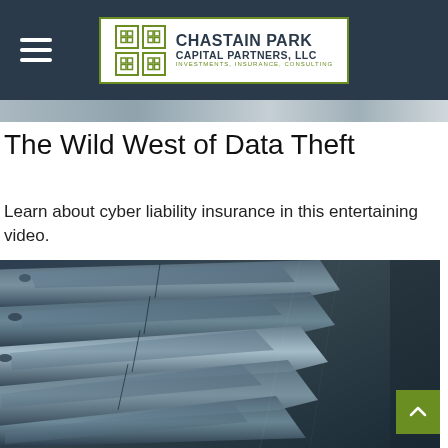Chastain Park Capital Partners, LLC — Investments, Insurance, Consulting
The Wild West of Data Theft
Learn about cyber liability insurance in this entertaining video.
[Figure (photo): Row of dark-colored cars viewed from above at an angle, tightly parked, showing rooftops and windows with reflections in a blue-grey tone.]